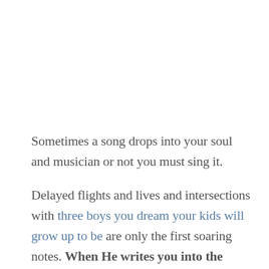Sometimes a song drops into your soul and musician or not you must sing it.
Delayed flights and lives and intersections with three boys you dream your kids will grow up to be are only the first soaring notes. When He writes you into the score, you must learn to sing. And He will make the harmony.